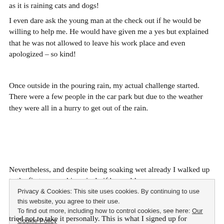as it is raining cats and dogs!
I even dare ask the young man at the check out if he would be willing to help me. He would have given me a yes but explained that he was not allowed to leave his work place and even apologized – so kind!
Once outside in the pouring rain, my actual challenge started. There were a few people in the car park but due to the weather they were all in a hurry to get out of the rain.
Nevertheless, and despite being soaking wet already I walked up to the first man, asking nicely if he could
Privacy & Cookies: This site uses cookies. By continuing to use this website, you agree to their use.
To find out more, including how to control cookies, see here: Our Cookie Policy
Close and accept
tried not to take it personally. This is what I signed up for